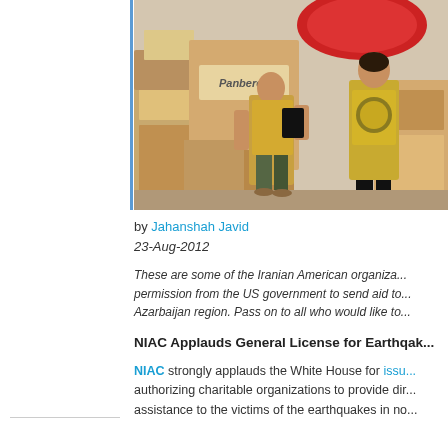[Figure (photo): Workers in yellow vests carrying boxes and supplies amid stacks of cardboard boxes and packages, including a visible Panberos box. Relief workers handling humanitarian aid materials.]
by Jahanshah Javid
23-Aug-2012
These are some of the Iranian American organiza... permission from the US government to send aid to... Azarbaijan region. Pass on to all who would like to...
NIAC Applauds General License for Earthqak...
NIAC strongly applauds the White House for issu... authorizing charitable organizations to provide dir... assistance to the victims of the earthquakes in no...